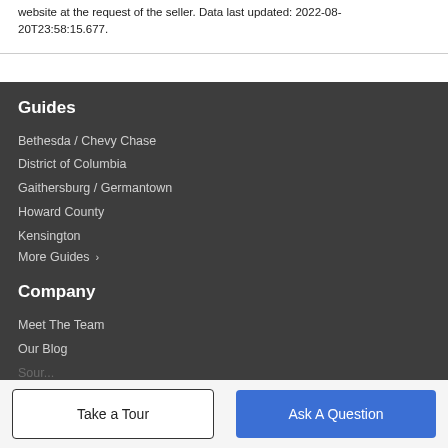website at the request of the seller. Data last updated: 2022-08-20T23:58:15.677.
Guides
Bethesda / Chevy Chase
District of Columbia
Gaithersburg / Germantown
Howard County
Kensington
More Guides ›
Company
Meet The Team
Our Blog
Take a Tour
Ask A Question